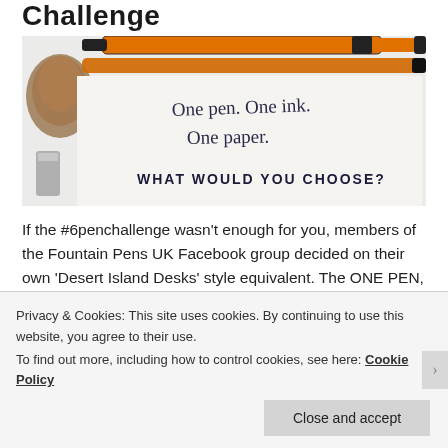Challenge
[Figure (photo): Photo of orange fountain pen(s) on white paper with handwritten text: 'One pen. One ink. One paper. WHAT WOULD YOU CHOOSE?' with a pine cone and lighter visible in background]
If the #6penchallenge wasn't enough for you, members of the Fountain Pens UK Facebook group decided on their own 'Desert Island Desks' style equivalent. The ONE PEN, ONE INK, ONE PAPER challenge! Or, select the
Privacy & Cookies: This site uses cookies. By continuing to use this website, you agree to their use.
To find out more, including how to control cookies, see here: Cookie Policy
Close and accept